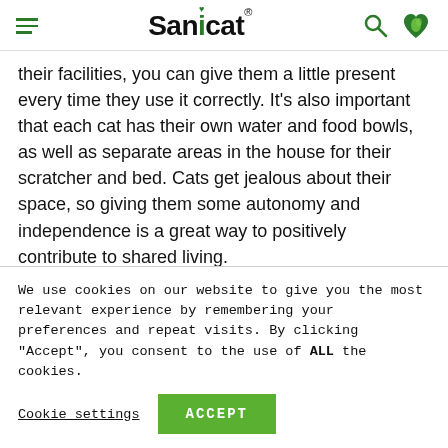Sanicat
their facilities, you can give them a little present every time they use it correctly. It's also important that each cat has their own water and food bowls, as well as separate areas in the house for their scratcher and bed. Cats get jealous about their space, so giving them some autonomy and independence is a great way to positively contribute to shared living.
By following these three simple steps, you will see that, after a reasonable adaptation time, your cats will not only get used to each other, but they will
We use cookies on our website to give you the most relevant experience by remembering your preferences and repeat visits. By clicking “Accept”, you consent to the use of ALL the cookies.
Cookie settings | ACCEPT